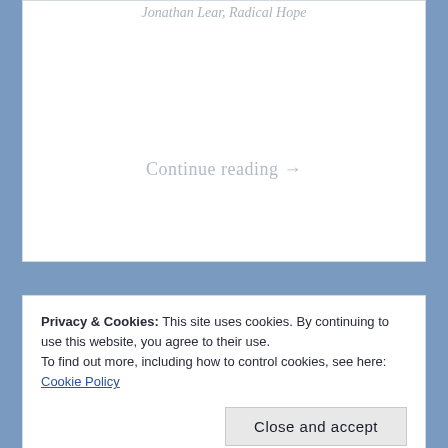Jonathan Lear, Radical Hope
Continue reading →
Privacy & Cookies: This site uses cookies. By continuing to use this website, you agree to their use.
To find out more, including how to control cookies, see here: Cookie Policy
Close and accept